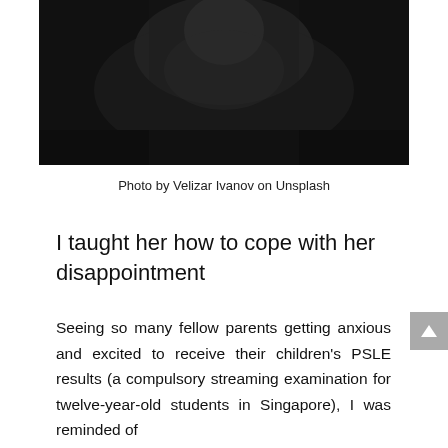[Figure (photo): Black and white photograph of a person, partially visible, dark moody background]
Photo by Velizar Ivanov on Unsplash
I taught her how to cope with her disappointment
Seeing so many fellow parents getting anxious and excited to receive their children's PSLE results (a compulsory streaming examination for twelve-year-old students in Singapore), I was reminded of